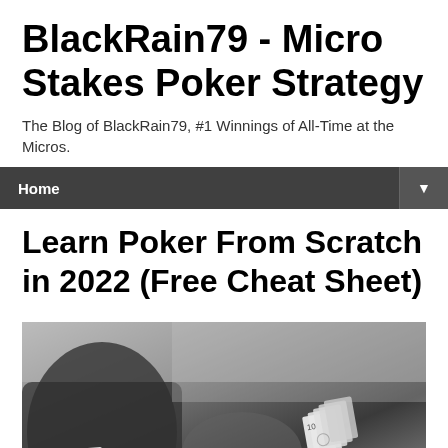BlackRain79 - Micro Stakes Poker Strategy
The Blog of BlackRain79, #1 Winnings of All-Time at the Micros.
Home
Learn Poker From Scratch in 2022 (Free Cheat Sheet)
[Figure (photo): Black and white photo of a person holding playing cards, with additional cards visible in the foreground on a table.]